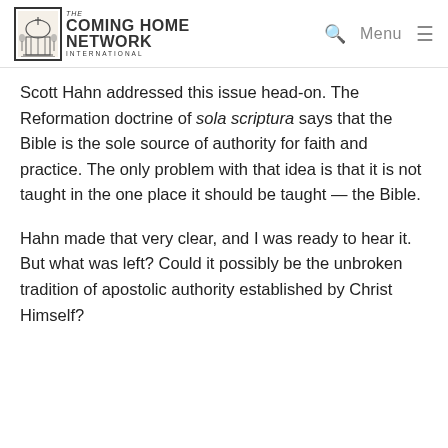The Coming Home Network International — Menu
Scott Hahn addressed this issue head-on. The Reformation doctrine of sola scriptura says that the Bible is the sole source of authority for faith and practice. The only problem with that idea is that it is not taught in the one place it should be taught — the Bible.
Hahn made that very clear, and I was ready to hear it. But what was left? Could it possibly be the unbroken tradition of apostolic authority established by Christ Himself?